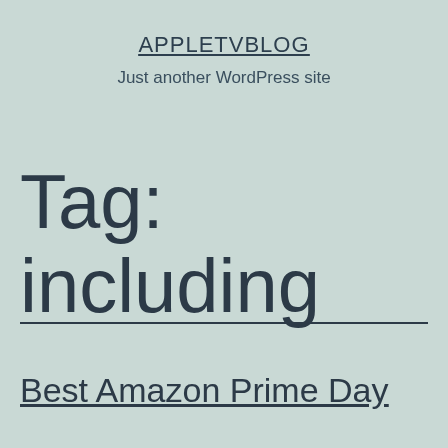APPLETVBLOG
Just another WordPress site
Tag: including
Best Amazon Prime Day